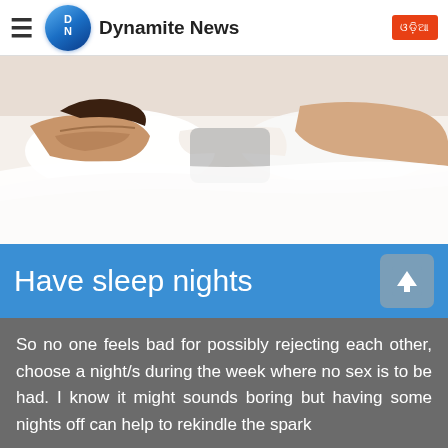Dynamite News
[Figure (photo): Two people lying in bed with white bedding, viewed from above, partially visible]
Have sleep nights
So no one feels bad for possibly rejecting each other, choose a night/s during the week where no sex is to be had. I know it might sounds boring but having some nights off can help to rekindle the spark